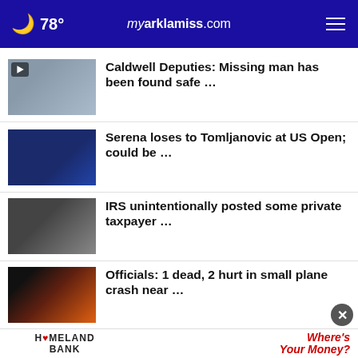78° myarklamiss.com
Caldwell Deputies: Missing man has been found safe …
Serena loses to Tomljanovic at US Open; could be …
IRS unintentionally posted some private taxpayer …
Officials: 1 dead, 2 hurt in small plane crash near …
Return to moon long overdue, former astronaut says
Infringement? Business …
[Figure (infographic): Homeland Bank advertisement with 'Where's Your Money?' text]